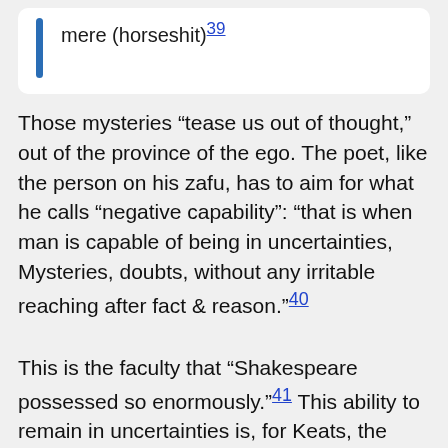mere (horseshit)39
Those mysteries “tease us out of thought,” out of the province of the ego. The poet, like the person on his zafu, has to aim for what he calls “negative capability”: “that is when man is capable of being in uncertainties, Mysteries, doubts, without any irritable reaching after fact & reason.”40
This is the faculty that “Shakespeare possessed so enormously.”41 This ability to remain in uncertainties is, for Keats, the quest, remaining in the region of thought which is not “consequitive,” or speculative. In this state in which the straining after results, the questioning of the world, is suspended, the Self—the identity of the poet—is annihilated. Keats writes, “As to the poetical